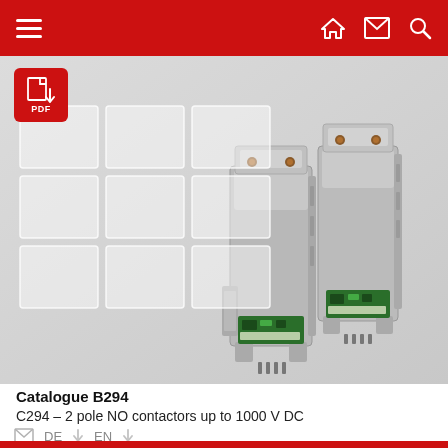Navigation bar with hamburger menu, home, mail, and search icons
[Figure (photo): Two grey 2-pole NO contactors (C294 series) for up to 1000 V DC, shown on a light grey background with a 3x3 grid of white square overlays on the left side, and a red PDF badge icon in the top-left corner.]
Catalogue B294
C294 – 2 pole NO contactors up to 1000 V DC
DE ↓   EN ↓